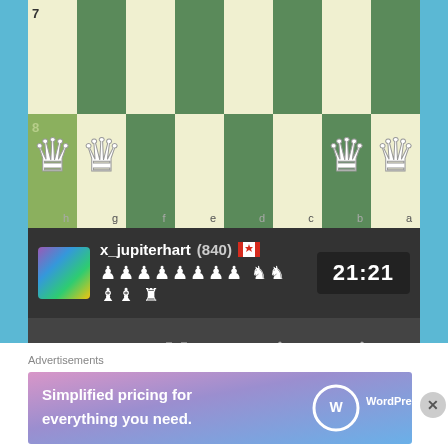[Figure (screenshot): Chess game board showing rank 7 and 8, with white queen pieces on h8, g8, b8, a8 squares. Green and cream colored chess board.]
x_jupiterhart (840) 🇨🇦  21:21
Options  Analyze  Back  Forward
Advertisements
Advertisements
[Figure (screenshot): WordPress.com advertisement banner: 'Simplified pricing for everything you need.' with WordPress.com logo on gradient pink/purple/blue background.]